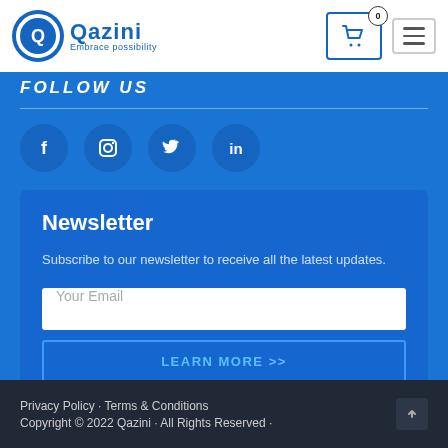Qazini · Embrace possibility
Follow Us
[Figure (illustration): Social media icons row: Facebook, Instagram, Twitter, LinkedIn — white icons on dark blue circles]
Newsletter
Subscribe to our newsletter to receive all the latest updates.
Your Email
LEARN MORE >>
Privacy Policy · Terms & Conditions
Copyright © 2022 Qazini · All Rights Reserved ·